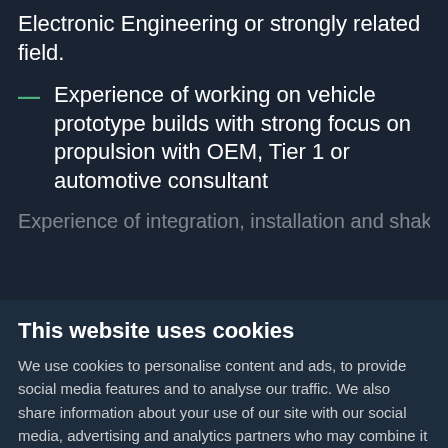Electronic Engineering or strongly related field.
Experience of working on vehicle prototype builds with strong focus on propulsion with OEM, Tier 1 or automotive consultant
Experience of integration, installation and shake...
This website uses cookies
We use cookies to personalise content and ads, to provide social media features and to analyse our traffic. We also share information about your use of our site with our social media, advertising and analytics partners who may combine it with other information that you've provided to them or that they've collected from your use of their services.
ALLOW SELECTION
ALLOW ALL COOKIES
Necessary  Preferences  Statistics  Marketing  Show details